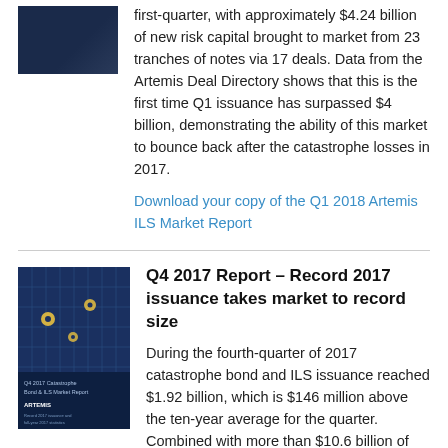[Figure (photo): Dark blue book cover thumbnail for Q1 2018 Artemis ILS Market Report]
first-quarter, with approximately $4.24 billion of new risk capital brought to market from 23 tranches of notes via 17 deals. Data from the Artemis Deal Directory shows that this is the first time Q1 issuance has surpassed $4 billion, demonstrating the ability of this market to bounce back after the catastrophe losses in 2017.
Download your copy of the Q1 2018 Artemis ILS Market Report
[Figure (photo): Dark blue book cover thumbnail for Q4 2017 Catastrophe Bond & ILS Market Report by Artemis]
Q4 2017 Report – Record 2017 issuance takes market to record size
During the fourth-quarter of 2017 catastrophe bond and ILS issuance reached $1.92 billion, which is $146 million above the ten-year average for the quarter. Combined with more than $10.6 billion of issuance in the first nine months of the year, full-year 2017 issuance broke records, with roughly $12.6 billion of new